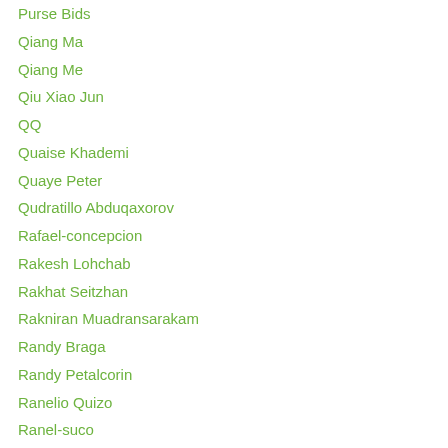Purse Bids
Qiang Ma
Qiang Me
Qiu Xiao Jun
QQ
Quaise Khademi
Quaye Peter
Qudratillo Abduqaxorov
Rafael-concepcion
Rakesh Lohchab
Rakhat Seitzhan
Rakniran Muadransarakam
Randy Braga
Randy Petalcorin
Ranelio Quizo
Ranel-suco
[Figure (infographic): Bloomingdales advertisement banner with infolinks tab, logo, 'View Today's Top Deals!' tagline, woman with wide-brim hat photo, and 'SHOP NOW >' button]